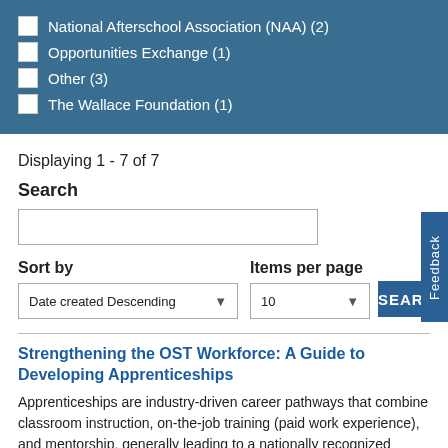National Afterschool Association (NAA) (2)
Opportunities Exchange (1)
Other (3)
The Wallace Foundation (1)
Displaying 1 - 7 of 7
Search
Sort by
Items per page
Date created Descending
10
SEARCH
Strengthening the OST Workforce: A Guide to Developing Apprenticeships
Apprenticeships are industry-driven career pathways that combine classroom instruction, on-the-job training (paid work experience), and mentorship, generally leading to a nationally recognized credential or